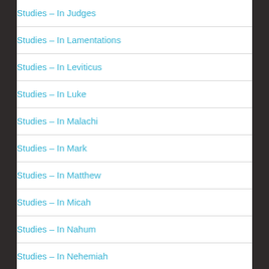Studies – In Judges
Studies – In Lamentations
Studies – In Leviticus
Studies – In Luke
Studies – In Malachi
Studies – In Mark
Studies – In Matthew
Studies – In Micah
Studies – In Nahum
Studies – In Nehemiah
Studies – In Numbers
Studies – In Philippians